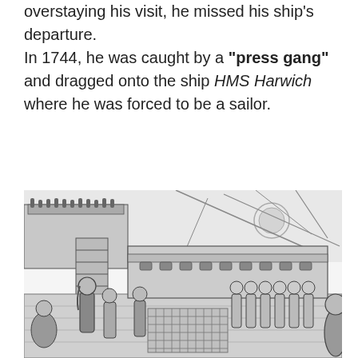overstaying his visit, he missed his ship's departure. In 1744, he was caught by a "press gang" and dragged onto the ship HMS Harwich where he was forced to be a sailor.
[Figure (illustration): A black and white illustration depicting a scene on the deck of an 18th century sailing ship. Several figures are shown on the dock/deck area, with the ship's rigging, masts, and structures visible in the background. In the foreground, people appear to be interacting, consistent with a press gang scene.]